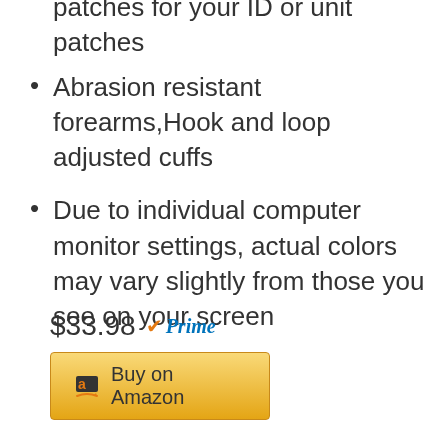Sleeves have arm pockets, and patches for your ID or unit patches
Abrasion resistant forearms,Hook and loop adjusted cuffs
Due to individual computer monitor settings, actual colors may vary slightly from those you see on your screen
$33.98 ✔Prime
Buy on Amazon